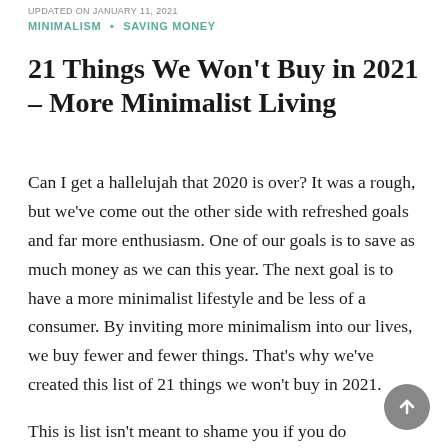UPDATED ON JANUARY 11, 2021
MINIMALISM • SAVING MONEY
21 Things We Won't Buy in 2021 – More Minimalist Living
Can I get a hallelujah that 2020 is over? It was a rough, but we've come out the other side with refreshed goals and far more enthusiasm. One of our goals is to save as much money as we can this year. The next goal is to have a more minimalist lifestyle and be less of a consumer. By inviting more minimalism into our lives, we buy fewer and fewer things. That's why we've created this list of 21 things we won't buy in 2021.
This is list isn't meant to shame you if you do